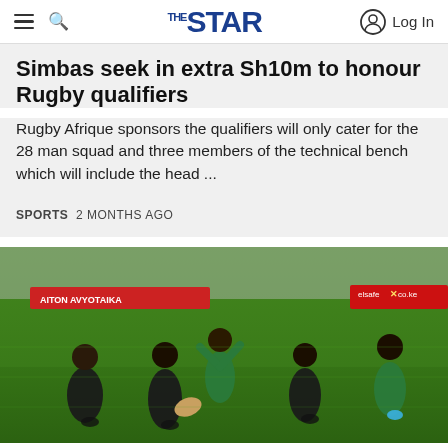THE STAR — navigation bar with hamburger menu, search icon, logo, and Log In button
Simbas seek in extra Sh10m to honour Rugby qualifiers
Rugby Afrique sponsors the qualifiers will only cater for the 28 man squad and three members of the technical bench which will include the head ...
SPORTS  2 MONTHS AGO
[Figure (photo): Rugby players on a green grass pitch during a match. Several players in dark/black kits and one player in a green and blue kit with arms raised. Advertisement banners visible in background including 'elsafe co.ke'.]